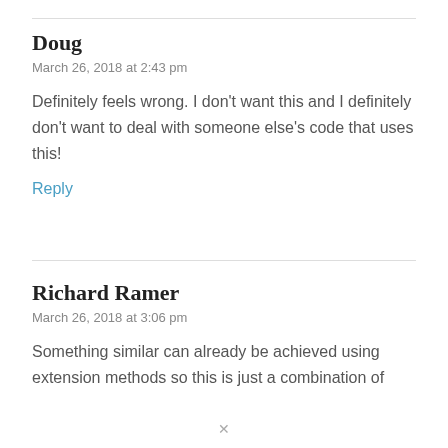Doug
March 26, 2018 at 2:43 pm
Definitely feels wrong. I don't want this and I definitely don't want to deal with someone else's code that uses this!
Reply
Richard Ramer
March 26, 2018 at 3:06 pm
Something similar can already be achieved using extension methods so this is just a combination of